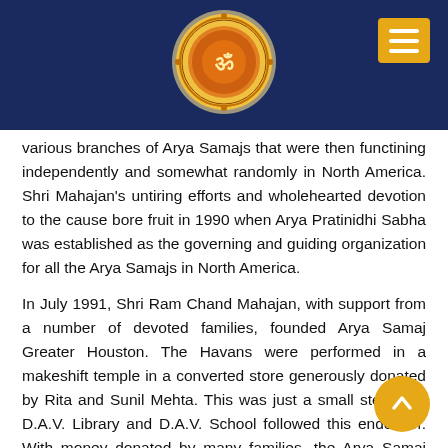[Figure (logo): Circular emblem/logo of Arya Samaj Greater Houston with orange and gold design on dark blue header bar]
various branches of Arya Samajs that were then functining independently and somewhat randomly in North America. Shri Mahajan's untiring efforts and wholehearted devotion to the cause bore fruit in 1990 when Arya Pratinidhi Sabha was established as the governing and guiding organization for all the Arya Samajs in North America.
In July 1991, Shri Ram Chand Mahajan, with support from a number of devoted families, founded Arya Samaj Greater Houston. The Havans were performed in a makeshift temple in a converted store generously donated by Rita and Sunil Mehta. This was just a small step. The D.A.V. Library and D.A.V. School followed this endeavor. With money donated by many families, the Arya Samaj bought land for a permanent home.